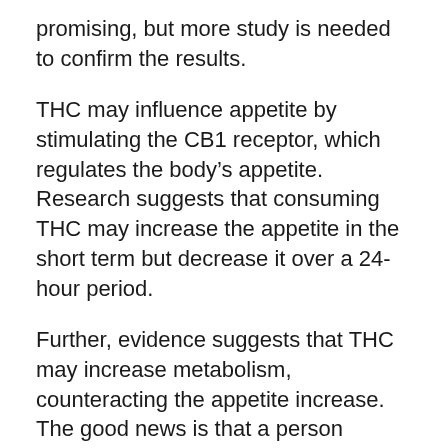promising, but more study is needed to confirm the results.
THC may influence appetite by stimulating the CB1 receptor, which regulates the body's appetite. Research suggests that consuming THC may increase the appetite in the short term but decrease it over a 24-hour period.
Further, evidence suggests that THC may increase metabolism, counteracting the appetite increase. The good news is that a person doesn't have to consume excessive amounts of THC to see results. Just one cigarette a week may have the desired effect.